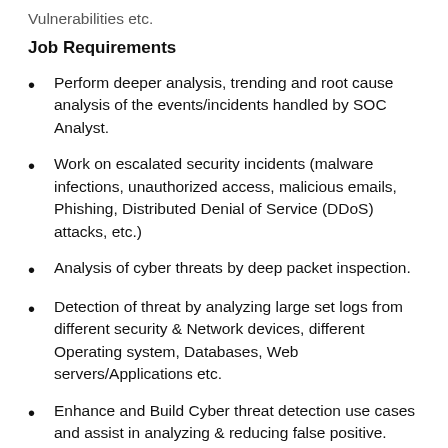Vulnerabilities etc.
Job Requirements
Perform deeper analysis, trending and root cause analysis of the events/incidents handled by SOC Analyst.
Work on escalated security incidents (malware infections, unauthorized access, malicious emails, Phishing, Distributed Denial of Service (DDoS) attacks, etc.)
Analysis of cyber threats by deep packet inspection.
Detection of threat by analyzing large set logs from different security & Network devices, different Operating system, Databases, Web servers/Applications etc.
Enhance and Build Cyber threat detection use cases and assist in analyzing & reducing false positive.